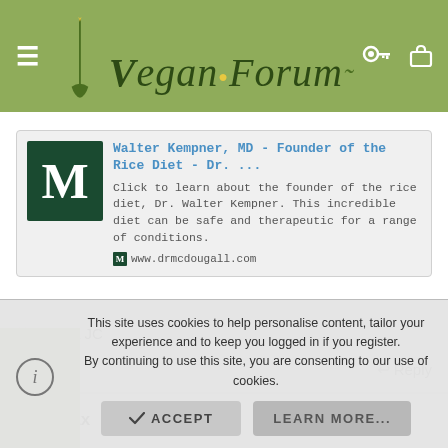Vegan Forum
[Figure (screenshot): Link preview card for 'Walter Kempner, MD - Founder of the Rice Diet - Dr. ...' from www.drmcdougall.com with a dark green M logo icon]
Walter Kempner, MD - Founder of the Rice Diet - Dr. ...
Click to learn about the founder of the rice diet, Dr. Walter Kempner. This incredible diet can be safe and therapeutic for a range of conditions.
www.drmcdougall.com
Emma JC
↩ Reply
Sax
This site uses cookies to help personalise content, tailor your experience and to keep you logged in if you register.
By continuing to use this site, you are consenting to our use of cookies.